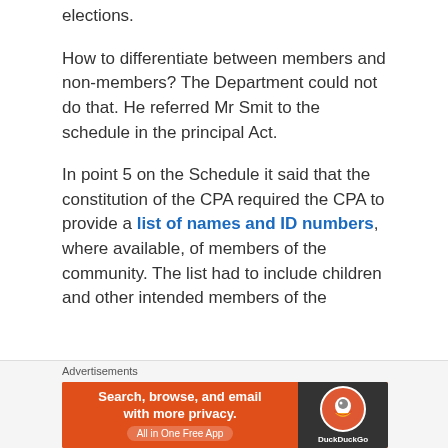elections.
How to differentiate between members and non-members? The Department could not do that. He referred Mr Smit to the schedule in the principal Act.
In point 5 on the Schedule it said that the constitution of the CPA required the CPA to provide a list of names and ID numbers, where available, of members of the community. The list had to include children and other intended members of the
Advertisements
[Figure (other): DuckDuckGo advertisement banner: orange background with text 'Search, browse, and email with more privacy. All in One Free App' and DuckDuckGo logo on dark background.]